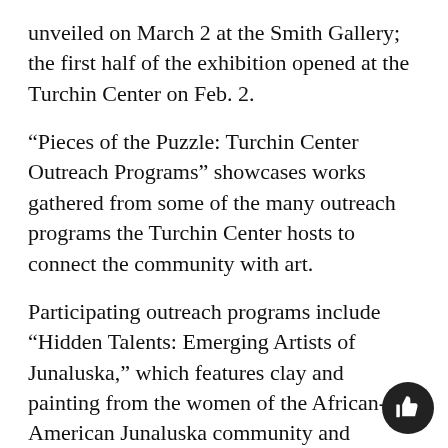unveiled on March 2 at the Smith Gallery; the first half of the exhibition opened at the Turchin Center on Feb. 2.
“Pieces of the Puzzle: Turchin Center Outreach Programs” showcases works gathered from some of the many outreach programs the Turchin Center hosts to connect the community with art.
Participating outreach programs include “Hidden Talents: Emerging Artists of Junaluska,” which features clay and painting from the women of the African-American Junaluska community and “Healing Arts,” which offers expressive opportunities to homeless children and adults at the Hospitality House of Boone.
Twelve outreach programs are featured in the exhibition, which connect with libraries,